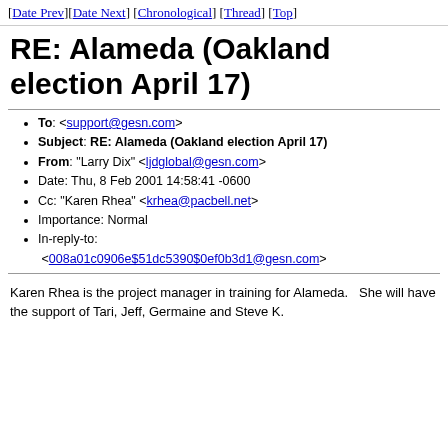[Date Prev][Date Next] [Chronological] [Thread] [Top]
RE: Alameda (Oakland election April 17)
To: <support@gesn.com>
Subject: RE: Alameda (Oakland election April 17)
From: "Larry Dix" <ljdglobal@gesn.com>
Date: Thu, 8 Feb 2001 14:58:41 -0600
Cc: "Karen Rhea" <krhea@pacbell.net>
Importance: Normal
In-reply-to: <008a01c0906e$51dc5390$0ef0b3d1@gesn.com>
Karen Rhea is the project manager in training for Alameda.   She will have the support of Tari, Jeff, Germaine and Steve K.